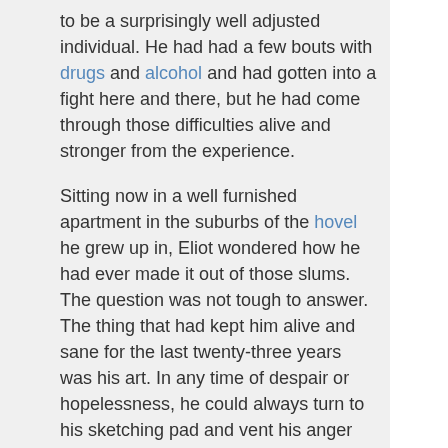to be a surprisingly well adjusted individual. He had had a few bouts with drugs and alcohol and had gotten into a fight here and there, but he had come through those difficulties alive and stronger from the experience.
Sitting now in a well furnished apartment in the suburbs of the hovel he grew up in, Eliot wondered how he had ever made it out of those slums. The question was not tough to answer. The thing that had kept him alive and sane for the last twenty-three years was his art. In any time of despair or hopelessness, he could always turn to his sketching pad and vent his anger